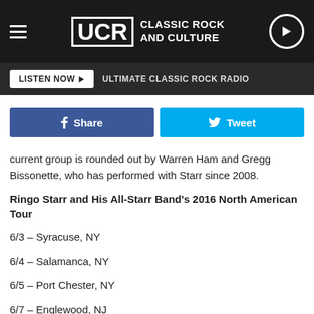UCR CLASSIC ROCK AND CULTURE
LISTEN NOW  ULTIMATE CLASSIC ROCK RADIO
Share  Tweet
current group is rounded out by Warren Ham and Gregg Bissonette, who has performed with Starr since 2008.
Ringo Starr and His All-Starr Band's 2016 North American Tour
6/3 – Syracuse, NY
6/4 – Salamanca, NY
6/5 – Port Chester, NY
6/7 – Englewood, NJ
6/8 – Bangor, ME
6/10 – Gilford, NH